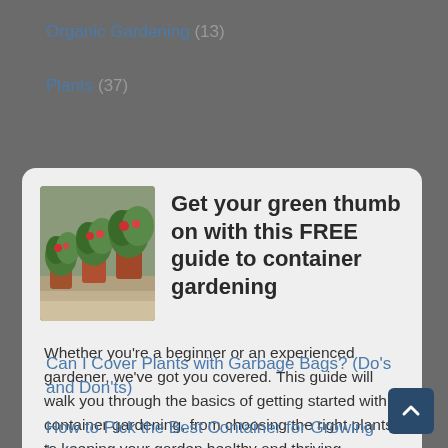Organic Gardening (13)
Plants (37)
Get your green thumb on with this FREE guide to container gardening
Whether you're a beginner or an experienced gardener, we've got you covered. This guide will walk you through the basics of getting started with container gardening, from choosing the right plants to keeping your garden healthy and thriving.
Click here to download our free 25-page guide to container gardening!
Can I Cover Plants with Garbage Bags? (Do's and Don'ts)
How to Pick the Best Container for Growing Lettuce